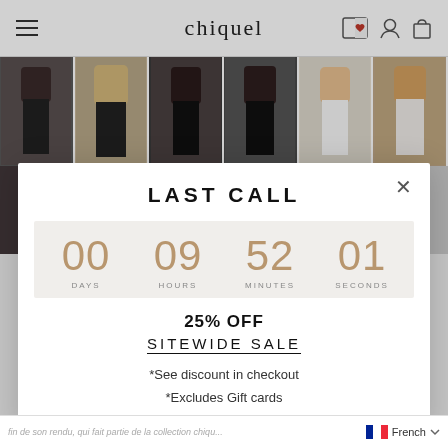chiquel
[Figure (photo): Row of hair extension product photos showing models with various hair styles on a website]
[Figure (screenshot): Modal popup overlay with 'LAST CALL' sale countdown timer showing 00 days, 09 hours, 52 minutes, 01 seconds, 25% OFF SITEWIDE SALE, *See discount in checkout, *Excludes Gift cards]
fin de son rendu, qui fait partie de la collection chiqu... French